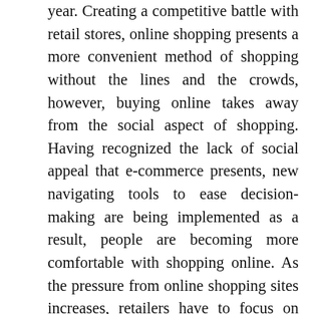year. Creating a competitive battle with retail stores, online shopping presents a more convenient method of shopping without the lines and the crowds, however, buying online takes away from the social aspect of shopping. Having recognized the lack of social appeal that e-commerce presents, new navigating tools to ease decision- making are being implemented as a result, people are becoming more comfortable with shopping online. As the pressure from online shopping sites increases, retailers have to focus on better marketing strategies to promote products and influence customers to shop in their stores instead of online. In fact, many retailers are now making their products available online. T a new influx of “click and mortar” retailers surfacing. The “click and mortar” retailers that